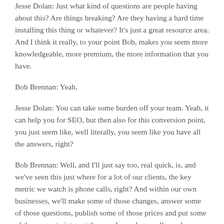Jesse Dolan: Just what kind of questions are people having about this? Are things breaking? Are they having a hard time installing this thing or whatever? It's just a great resource area. And I think it really, to your point Bob, makes you seem more knowledgeable, more premium, the more information that you have.
Bob Brennan: Yeah.
Jesse Dolan: You can take some burden off your team. Yeah, it can help you for SEO, but then also for this conversion point, you just seem like, well literally, you seem like you have all the answers, right?
Bob Brennan: Well, and I'll just say too, real quick, is, and we've seen this just where for a lot of our clients, the key metric we watch is phone calls, right? And within our own businesses, we'll make some of those changes, answer some of those questions, publish some of those prices and put some of those constraints out there and our phone calls go down, right? And we're like, geez, now what? What are we doing? Type of a thing. And we'll find out days later from our team, they're like, these are the best numbers, business volume we've ever done. Just to find out it's like, people are not calling to confirm things, people are seeing the price,